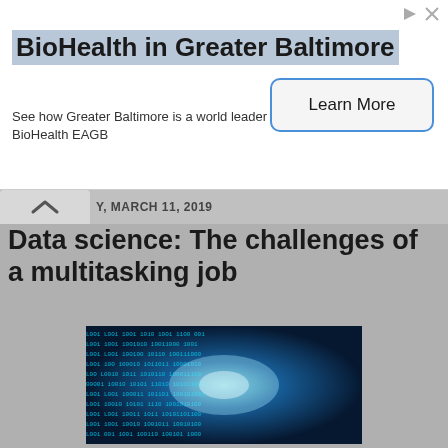[Figure (other): Advertisement banner for BioHealth in Greater Baltimore with a Learn More button]
Y, MARCH 11, 2019
Data science: The challenges of a multitasking job
[Figure (photo): A tunnel of binary code (0s and 1s) in blue tones, representing data science]
The Data Science specialist must know how to navigate skillfully between many languages, think algorithmically, and have the ability to solve complex problems.
These faculties are critical because the data scientist must be able to understand the complexity of data and their flow. A